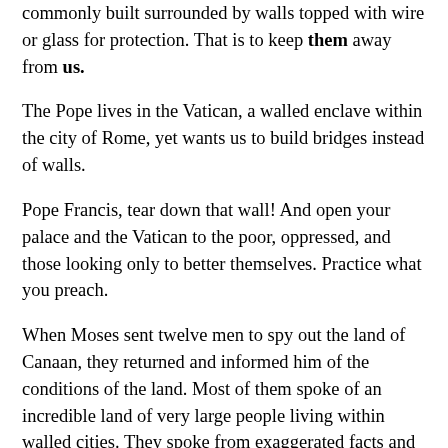commonly built surrounded by walls topped with wire or glass for protection. That is to keep them away from us.
The Pope lives in the Vatican, a walled enclave within the city of Rome, yet wants us to build bridges instead of walls.
Pope Francis, tear down that wall! And open your palace and the Vatican to the poor, oppressed, and those looking only to better themselves. Practice what you preach.
When Moses sent twelve men to spy out the land of Canaan, they returned and informed him of the conditions of the land. Most of them spoke of an incredible land of very large people living within walled cities. They spoke from exaggerated facts and fear, not faith. The spineless spies warned in Deut. 1:28, “the cities are great and walled up to heaven”–a slight hyperbole! They declared, “All these cities were fenced with high walls, gates, and bars.” They were saying, “Moses, you are a dummy if you think we can take those walled cities. We